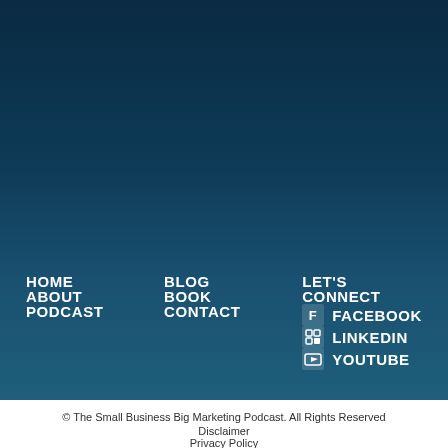HOME
ABOUT
PODCAST
BLOG
BOOK
CONTACT
LET'S CONNECT
FACEBOOK
LINKEDIN
YOUTUBE
© The Small Business Big Marketing Podcast. All Rights Reserved
Disclaimer
Privacy Policy